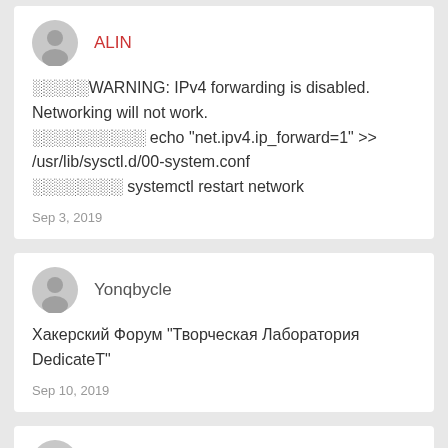ALIN
⬛⬛⬛⬛⬛WARNING: IPv4 forwarding is disabled. Networking will not work.
⬛⬛⬛⬛⬛⬛⬛⬛⬛⬛ echo "net.ipv4.ip_forward=1" >> /usr/lib/sysctl.d/00-system.conf
⬛⬛⬛⬛⬛⬛⬛⬛ systemctl restart network
Sep 3, 2019
Yonqbycle
Хакерский Форум "Творческая Лаборатория DedicateT"
Sep 10, 2019